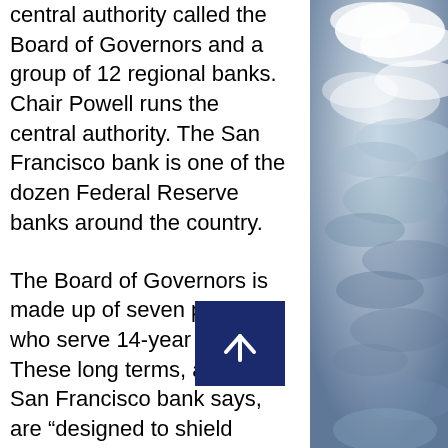central authority called the Board of Governors and a group of 12 regional banks. Chair Powell runs the central authority. The San Francisco bank is one of the dozen Federal Reserve banks around the country.
The Board of Governors is made up of seven people who serve 14-year terms. These long terms, as the San Francisco bank says, are “designed to shield Board members from political pressures.” The chair of the Board of Governors (currently Jerome Powell) serves a four-year term. So do the two vice chairs. The Senate must approve each member of the Board of Governors who, together, oversee the entire Fed system.
[Figure (photo): Photograph of cloudy sky, blue-grey tones, visible on the right side of the page]